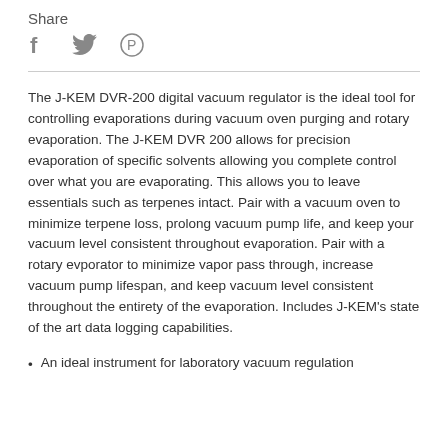Share
[Figure (other): Social media share icons: Facebook (f), Twitter (bird), Pinterest (P)]
The J-KEM DVR-200 digital vacuum regulator is the ideal tool for controlling evaporations during vacuum oven purging and rotary evaporation. The J-KEM DVR 200 allows for precision evaporation of specific solvents allowing you complete control over what you are evaporating. This allows you to leave essentials such as terpenes intact. Pair with a vacuum oven to minimize terpene loss, prolong vacuum pump life, and keep your vacuum level consistent throughout evaporation. Pair with a rotary evporator to minimize vapor pass through, increase vacuum pump lifespan, and keep vacuum level consistent throughout the entirety of the evaporation. Includes J-KEM's state of the art data logging capabilities.
An ideal instrument for laboratory vacuum regulation